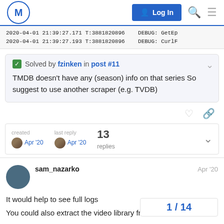[Figure (screenshot): Forum navigation bar with M logo, Log In button, search icon, and hamburger menu]
2020-04-01 21:39:27.171 T:3881820896    DEBUG: GetEp
2020-04-01 21:39:27.193 T:3881820896    DEBUG: CurlF
✅ Solved by fzinken in post #11
TMDB doesn't have any (season) info on that series So suggest to use another scraper (e.g. TVDB)
created Apr '20   last reply Apr '20   13 replies
sam_nazarko   Apr '20
It would help to see full logs
You could also extract the video library frc
1 / 14